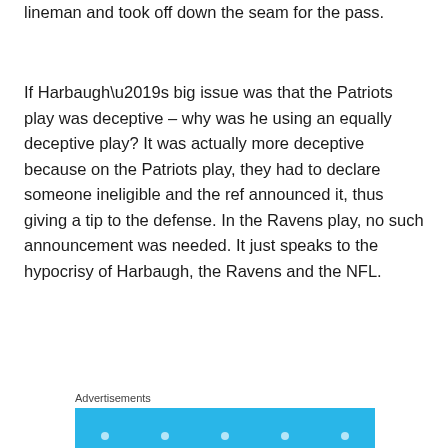lineman and took off down the seam for the pass.
If Harbaugh’s big issue was that the Patriots play was deceptive – why was he using an equally deceptive play? It was actually more deceptive because on the Patriots play, they had to declare someone ineligible and the ref announced it, thus giving a tip to the defense. In the Ravens play, no such announcement was needed. It just speaks to the hypocrisy of Harbaugh, the Ravens and the NFL.
Advertisements